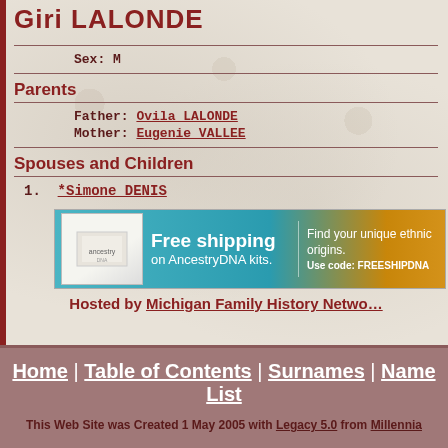Giri LALONDE
Sex: M
Parents
Father: Ovila LALONDE
Mother: Eugenie VALLEE
Spouses and Children
1. *Simone DENIS
[Figure (other): AncestryDNA advertisement banner: Free shipping on AncestryDNA kits. Find your unique ethnic origins. Use code: FREESHIPDNA]
Hosted by Michigan Family History Network
Home | Table of Contents | Surnames | Name List
This Web Site was Created 1 May 2005 with Legacy 5.0 from Millennia